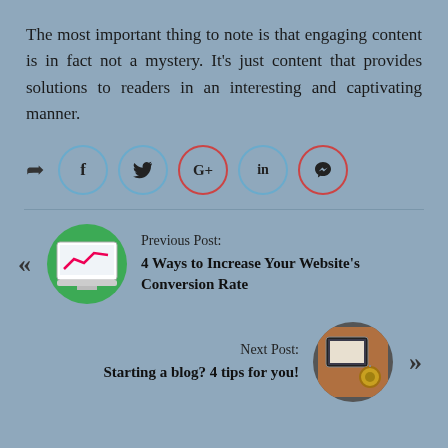The most important thing to note is that engaging content is in fact not a mystery. It’s just content that provides solutions to readers in an interesting and captivating manner.
[Figure (infographic): Social share row with a share arrow icon followed by five circular social media icons: Facebook (f, blue border), Twitter (bird, blue border), Google+ (G+, red border), LinkedIn (in, blue border), Pinterest (p, red border)]
[Figure (infographic): Previous Post navigation with left double-angle arrow, green circular thumbnail showing a monitor with a rising chart, label 'Previous Post:' and bold title '4 Ways to Increase Your Website’s Conversion Rate']
[Figure (infographic): Next Post navigation with label 'Next Post:' and bold title 'Starting a blog? 4 tips for you!' followed by a circular thumbnail of a laptop/camera and right double-angle arrow]